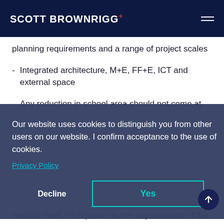SCOTT BROWNRIGG+
planning requirements and a range of project scales
Integrated architecture, M+E, FF+E, ICT and external space
Any reduction in school area should not come at
Our website uses cookies to distinguish you from other users on our website. I confirm acceptance to the use of cookies.
Privacy Policy
Decline  Yes
need to meet, or improve on the requirements of the